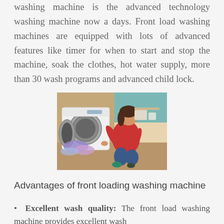washing machine is the advanced technology washing machine now a days. Front load washing machines are equipped with lots of advanced features like timer for when to start and stop the machine, soak the clothes, hot water supply, more than 30 wash programs and advanced child lock.
[Figure (photo): A woman in a red top kneeling in front of an open front-load washing machine, loading or removing laundry, in a laundry room setting.]
Advantages of front loading washing machine
Excellent wash quality: The front load washing machine provides excellent wash quality because of the advanced features it...